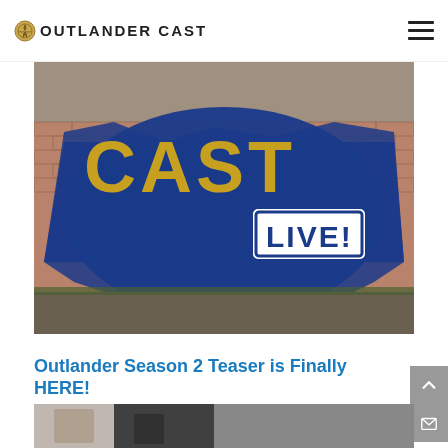OUTLANDER CAST
[Figure (photo): Outlander Cast Live banner image showing brick wall with blue paint splash, gold text 'CAST' and white 'LIVE!' badge]
Outlander Season 2 Teaser is Finally HERE!
[Figure (photo): Partial bottom image strip previewing next article]